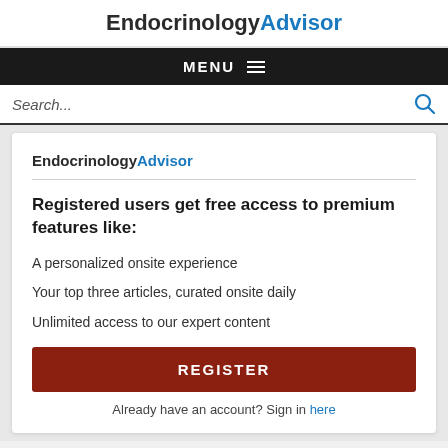EndocrinologyAdvisor
MENU ≡
Search...
EndocrinologyAdvisor
Registered users get free access to premium features like:
A personalized onsite experience
Your top three articles, curated onsite daily
Unlimited access to our expert content
REGISTER
Already have an account? Sign in here